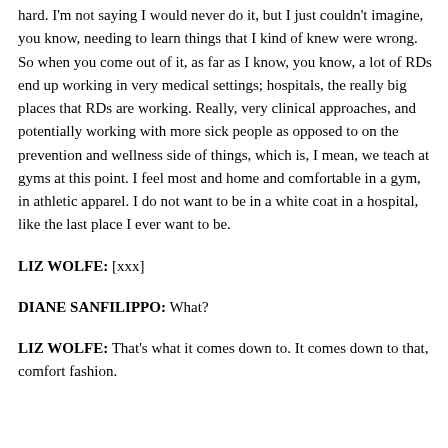hard. I'm not saying I would never do it, but I just couldn't imagine, you know, needing to learn things that I kind of knew were wrong. So when you come out of it, as far as I know, you know, a lot of RDs end up working in very medical settings; hospitals, the really big places that RDs are working. Really, very clinical approaches, and potentially working with more sick people as opposed to on the prevention and wellness side of things, which is, I mean, we teach at gyms at this point. I feel most and home and comfortable in a gym, in athletic apparel. I do not want to be in a white coat in a hospital, like the last place I ever want to be.
LIZ WOLFE: [xxx]
DIANE SANFILIPPO: What?
LIZ WOLFE: That's what it comes down to. It comes down to that, comfort fashion.